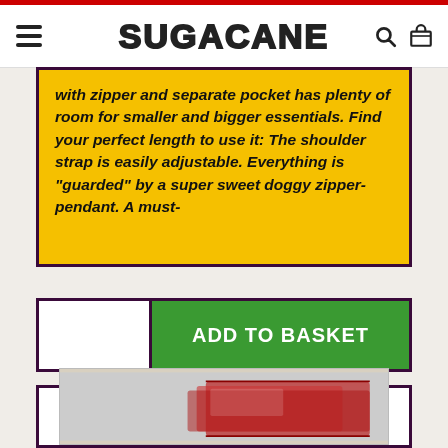SUGACANE
with zipper and separate pocket has plenty of room for smaller and bigger essentials. Find your perfect length to use it: The shoulder strap is easily adjustable. Everything is "guarded" by a super sweet doggy zipper-pendant. A must-
ADD TO BASKET
TRENDING PRODUCTS
[Figure (photo): Partial view of a product (appears to be a box/game) shown at the bottom of the page, partially cut off]